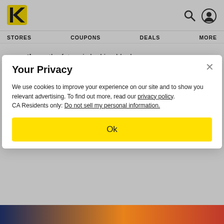[Figure (logo): Kmart yellow K logo]
STORES   COUPONS   DEALS   MORE
save them, the future is looking bleak.
Meanwhile, drive-in theaters are booming.
Here's what you need to know:
Your Privacy
We use cookies to improve your experience on our site and to show you relevant advertising. To find out more, read our privacy policy.
CA Residents only: Do not sell my personal information.
Ok